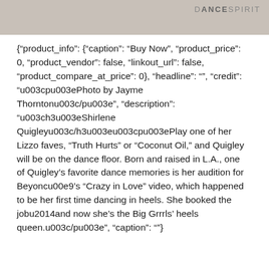[Figure (photo): Cropped top portion of a photo with a Dance Spirit magazine logo watermark in the upper right corner. The image shows what appears to be a product or object on a light background.]
{"product_info": {"caption": "Buy Now", "product_price": 0, "product_vendor": false, "linkout_url": false, "product_compare_at_price": 0}, "headline": "", "credit": "\u003cp\u003ePhoto by Jayme Thornton\u003c/p\u003e", "description": "\u003ch3\u003eShirlene Quigley\u003c/h3\u003e\u003cp\u003ePlay one of her Lizzo faves, “Truth Hurts” or “Coconut Oil,” and Quigley will be on the dance floor. Born and raised in L.A., one of Quigley’s favorite dance memories is her audition for Beyoncu00e9’s “Crazy in Love” video, which happened to be her first time dancing in heels. She booked the jobu2014and now she’s the Big Grrrls’ heels queen.\u003c/p\u003e", "caption": ""}